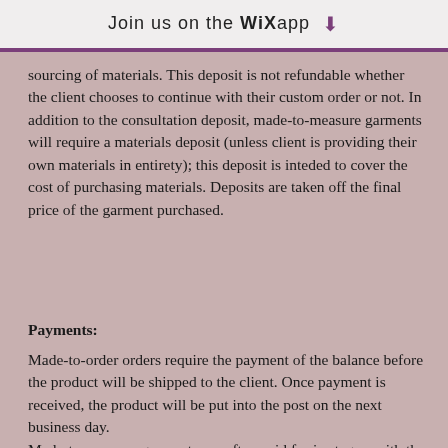Join us on the WiX app ⬇
sourcing of materials. This deposit is not refundable whether the client chooses to continue with their custom order or not. In addition to the consultation deposit, made-to-measure garments will require a materials deposit (unless client is providing their own materials in entirety); this deposit is inteded to cover the cost of purchasing materials. Deposits are taken off the final price of the garment purchased.
Payments:
Made-to-order orders require the payment of the balance before the product will be shipped to the client. Once payment is received, the product will be put into the post on the next business day.
Made-to-measure garments are often paid for in stages, with the final payment being required before shipment of the garment. A payment plan will be discussed and agreed upon with the client at time of consultaion. If the payment plan is not adhered to without communication, your order may be placed on hold until the next payment is made.